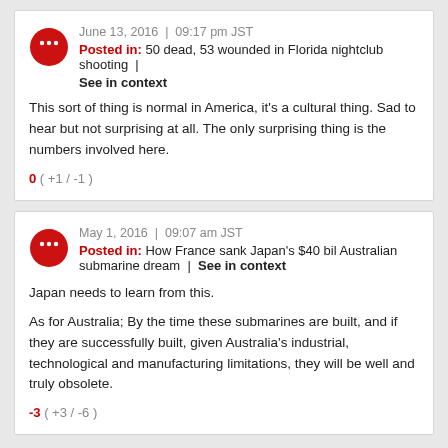June 13, 2016 | 09:17 pm JST
Posted in: 50 dead, 53 wounded in Florida nightclub shooting | See in context
This sort of thing is normal in America, it's a cultural thing. Sad to hear but not surprising at all. The only surprising thing is the numbers involved here.
0 ( +1 / -1 )
May 1, 2016 | 09:07 am JST
Posted in: How France sank Japan's $40 bil Australian submarine dream | See in context
Japan needs to learn from this.
As for Australia; By the time these submarines are built, and if they are successfully built, given Australia's industrial, technological and manufacturing limitations, they will be well and truly obsolete.
-3 ( +3 / -6 )